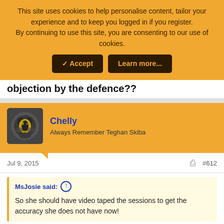This site uses cookies to help personalise content, tailor your experience and to keep you logged in if you register. By continuing to use this site, you are consenting to our use of cookies.
objection by the defence??
Chelly
Always Remember Teghan Skiba
Jul 9, 2015  #612
MsJosie said: So she should have video taped the sessions to get the accuracy she does not have now!